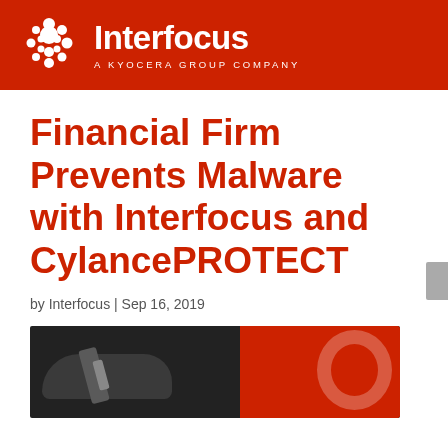Interfocus — A KYOCERA GROUP COMPANY
Financial Firm Prevents Malware with Interfocus and CylancePROTECT
by Interfocus | Sep 16, 2019
[Figure (photo): A dark-gloved hand holding a key against a red background]